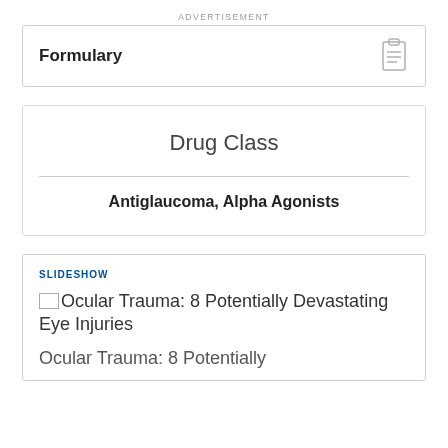ADVERTISEMENT
Formulary
| Drug Class |
| --- |
| Antiglaucoma, Alpha Agonists |
SLIDESHOW
Ocular Trauma: 8 Potentially Devastating Eye Injuries
Ocular Trauma: 8 Potentially